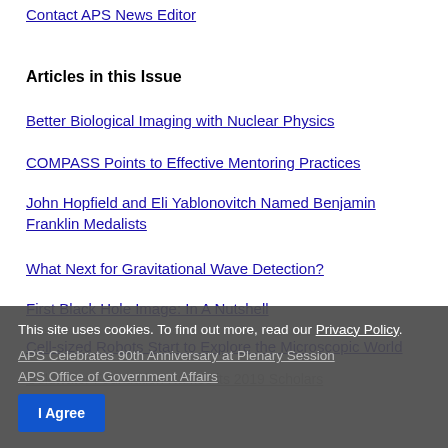Contact APS News Editor
Articles in this Issue
Better Biological Imaging with Nuclear Physics
COMPASS Points to Effective Mentoring Practices
John Hopfield and Eli Yablonovitch Named Benjamin Franklin Medalists
What Next for Gravitational Wave Detection?
First Black Hole Image: In A Nutshell
Cell-sized Robots Start to Explore the Microscopic World
Goldwater Foundation Names its 2019 Scholars
APS Celebrates 90th Anniversary at Plenary Session
APS Office of Government Affairs
This site uses cookies. To find out more, read our Privacy Policy.
I Agree